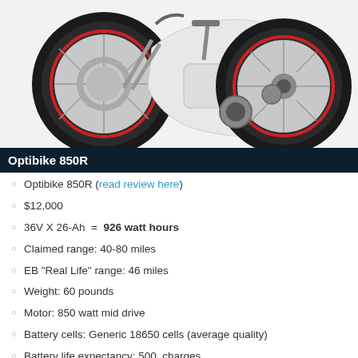[Figure (photo): Photo of Optibike 850R electric bicycle, white frame, showing front wheel with disc brake on left and rear wheel/drivetrain on right, against white background.]
Optibike 850R
Optibike 850R (read review here)
$12,000
36V X 26-Ah  =  926 watt hours
Claimed range: 40-80 miles
EB "Real Life" range: 46 miles
Weight: 60 pounds
Motor: 850 watt mid drive
Battery cells: Generic 18650 cells (average quality)
Battery life expectancy: 500  charges